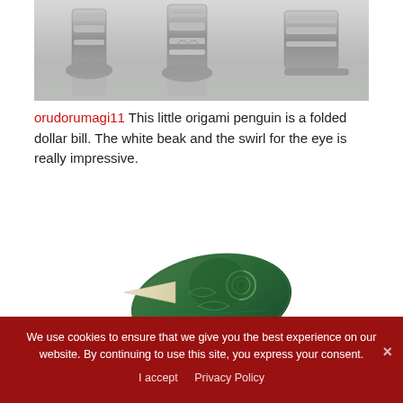[Figure (photo): Photo of AT-AT walker legs/feet from Star Wars, appearing to be paper/origami or model versions on a reflective surface]
orudorumagi11 This little origami penguin is a folded dollar bill. The white beak and the swirl for the eye is really impressive.
[Figure (photo): Close-up photo of an origami penguin folded from a dollar bill, showing green currency patterns and a white beak with a swirl eye detail]
We use cookies to ensure that we give you the best experience on our website. By continuing to use this site, you express your consent.
I accept   Privacy Policy